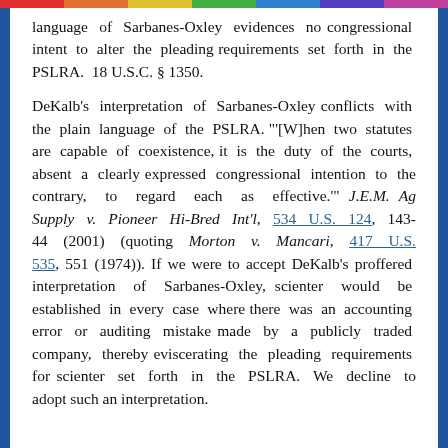language of Sarbanes-Oxley evidences no congressional intent to alter the pleading requirements set forth in the PSLRA. 18 U.S.C. § 1350.
DeKalb's interpretation of Sarbanes-Oxley conflicts with the plain language of the PSLRA. "'[W]hen two statutes are capable of coexistence, it is the duty of the courts, absent a clearly expressed congressional intention to the contrary, to regard each as effective.'" J.E.M. Ag Supply v. Pioneer Hi-Bred Int'l, 534 U.S. 124, 143-44 (2001) (quoting Morton v. Mancari, 417 U.S. 535, 551 (1974)). If we were to accept DeKalb's proffered interpretation of Sarbanes-Oxley, scienter would be established in every case where there was an accounting error or auditing mistake made by a publicly traded company, thereby eviscerating the pleading requirements for scienter set forth in the PSLRA. We decline to adopt such an interpretation.